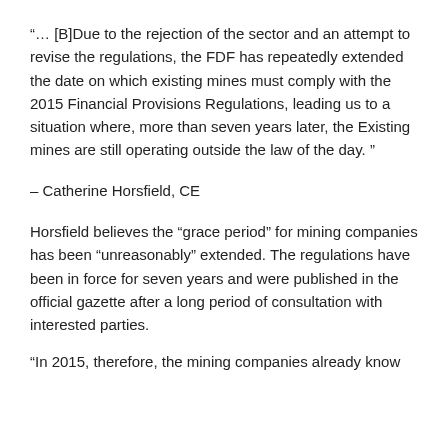“… [B]Due to the rejection of the sector and an attempt to revise the regulations, the FDF has repeatedly extended the date on which existing mines must comply with the 2015 Financial Provisions Regulations, leading us to a situation where, more than seven years later, the Existing mines are still operating outside the law of the day. ”
– Catherine Horsfield, CE
Horsfield believes the “grace period” for mining companies has been “unreasonably” extended. The regulations have been in force for seven years and were published in the official gazette after a long period of consultation with interested parties.
“In 2015, therefore, the mining companies already know...